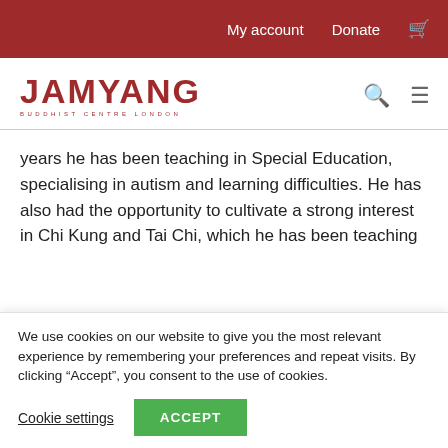My account  Donate  [cart icon]
[Figure (logo): Jamyang Buddhist Centre London logo — red stylized text JAMYANG with BUDDHIST CENTRE LONDON below]
years he has been teaching in Special Education, specialising in autism and learning difficulties. He has also had the opportunity to cultivate a strong interest in Chi Kung and Tai Chi, which he has been teaching
We use cookies on our website to give you the most relevant experience by remembering your preferences and repeat visits. By clicking “Accept”, you consent to the use of cookies.
Cookie settings   ACCEPT